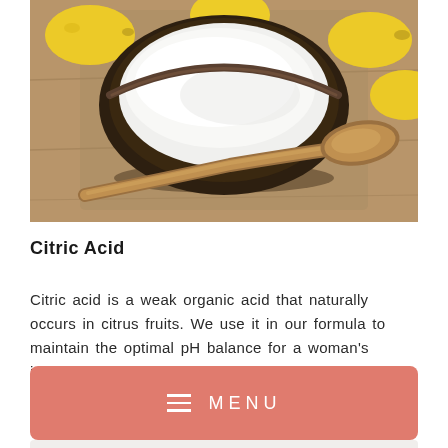[Figure (photo): A dark ceramic bowl filled with white citric acid powder on a rustic wooden surface, with yellow citrus fruits (lemons or similar) in the background and a wooden spoon in the foreground.]
Citric Acid
Citric acid is a weak organic acid that naturally occurs in citrus fruits. We use it in our formula to maintain the optimal pH balance for a woman's intimate areas.
MENU